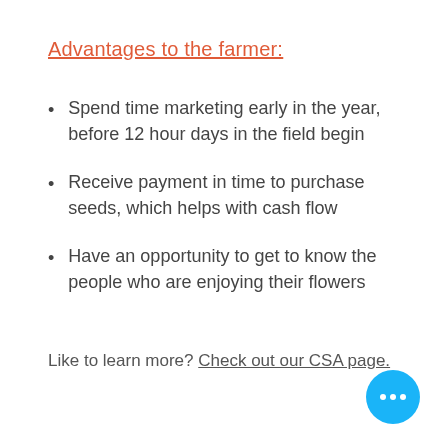Advantages to the farmer:
Spend time marketing early in the year, before 12 hour days in the field begin
Receive payment in time to purchase seeds, which helps with cash flow
Have an opportunity to get to know the people who are enjoying their flowers
Like to learn more? Check out our CSA page.